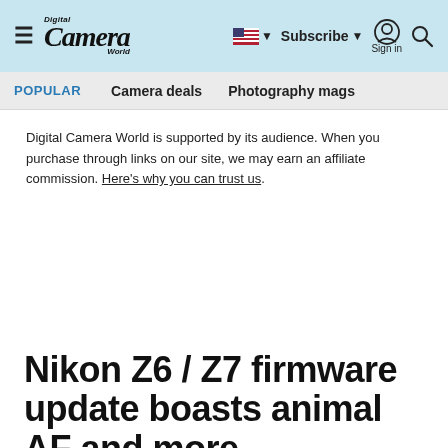Digital Camera World — Subscribe | Sign in
POPULAR   Camera deals   Photography mags
Digital Camera World is supported by its audience. When you purchase through links on our site, we may earn an affiliate commission. Here's why you can trust us.
Nikon Z6 / Z7 firmware update boasts animal AF and more